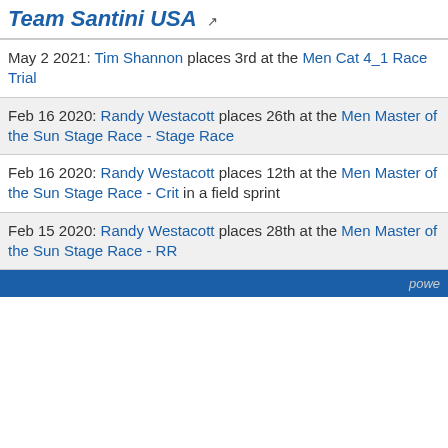Team Santini USA
May 2 2021: Tim Shannon places 3rd at the Men Cat 4_1 Race Trial
Feb 16 2020: Randy Westacott places 26th at the Men Master of the Sun Stage Race - Stage Race
Feb 16 2020: Randy Westacott places 12th at the Men Master of the Sun Stage Race - Crit in a field sprint
Feb 15 2020: Randy Westacott places 28th at the Men Master of the Sun Stage Race - RR
powe